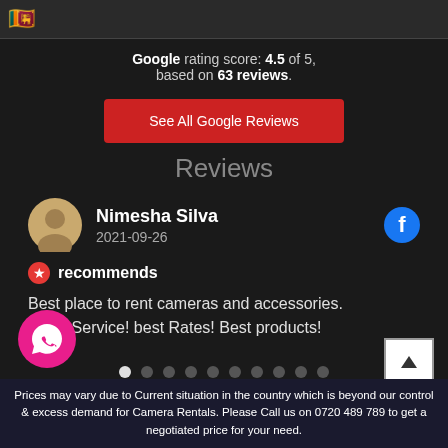🇱🇰
Google rating score: 4.5 of 5, based on 63 reviews.
See All Google Reviews
Reviews
Nimesha Silva
2021-09-26
recommends
Best place to rent cameras and accessories.
Good Service! best Rates! Best products!
Prices may vary due to Current situation in the country which is beyond our control & excess demand for Camera Rentals. Please Call us on 0720 489 789 to get a negotiated price for your need.